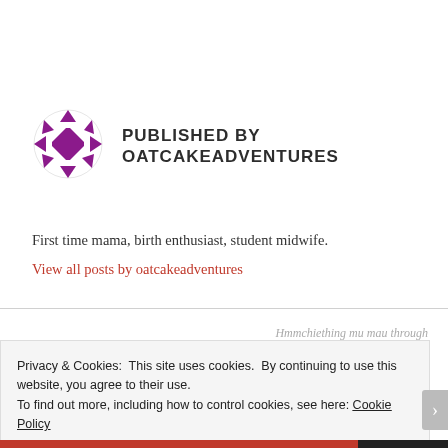[Figure (logo): OatcakeAdventures logo: a purple/magenta square with white geometric cuts surrounded by a circular arrangement of white angular shards on a white background]
PUBLISHED BY
OATCAKEADVENTURES
First time mama, birth enthusiast, student midwife.
View all posts by oatcakeadventures
Privacy & Cookies: This site uses cookies. By continuing to use this website, you agree to their use.
To find out more, including how to control cookies, see here: Cookie Policy
Close and accept